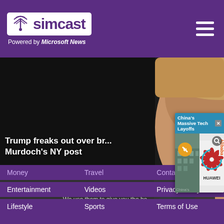[Figure (logo): Simcast logo with antenna icon, purple background, 'Powered by Microsoft News' tagline]
[Figure (photo): Close-up photo of Donald Trump speaking with mouth open, dark background]
Trump freaks out over br... Murdoch's NY post
[Figure (screenshot): Popup card: 'China's Massive Tech Layoffs' with Huawei logo and Alibaba branding, mute button overlay, close button]
This we...
We use them to give you the be... will assume that you are...
Co...
Money
Travel
Contact Us
Entertainment
Videos
Privacy Policy
Lifestyle
Sports
Terms of Use